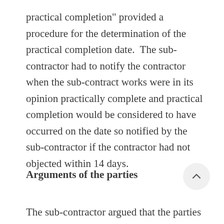practical completion" provided a procedure for the determination of the practical completion date.  The sub-contractor had to notify the contractor when the sub-contract works were in its opinion practically complete and practical completion would be considered to have occurred on the date so notified by the sub-contractor if the contractor had not objected within 14 days.
Arguments of the parties
The sub-contractor argued that the parties